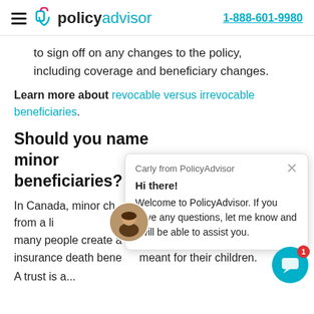PolicyAdvisor | 1-888-601-9980
to sign off on any changes to the policy, including coverage and beneficiary changes.
Learn more about revocable versus irrevocable beneficiaries.
Should you name minor beneficiaries?
In Canada, minor children cannot directly receive funds from a life insurance policy until the age of majority. Thus, many people create a trust to manage the funds of life insurance death benefits meant for their children.
A trust is a...